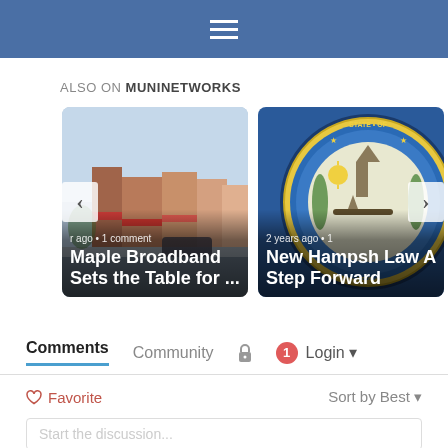Navigation bar with hamburger menu
ALSO ON MUNINETWORKS
[Figure (screenshot): Card: street photo of downtown main street with brick buildings. Left nav arrow visible. Text overlay: 'r ago • 1 comment' and title 'Maple Broadband Sets the Table for ...']
[Figure (screenshot): Card: New Hampshire state seal (blue and gold circular seal). Right nav arrow visible. Text overlay: '2 years ago • 1' and title 'New Hampsh Law A Step Forward']
Comments  Community  🔒  1  Login ▾
♡ Favorite    Sort by Best ▾
Start the discussion...